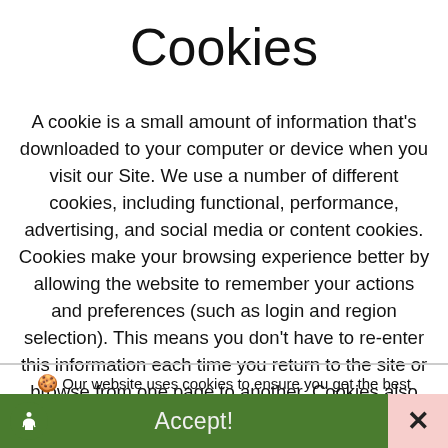Cookies
A cookie is a small amount of information that's downloaded to your computer or device when you visit our Site. We use a number of different cookies, including functional, performance, advertising, and social media or content cookies. Cookies make your browsing experience better by allowing the website to remember your actions and preferences (such as login and region selection). This means you don't have to re-enter this information each time you return to the site or browse from one page to another. Cookies also provide information on how people use the
🍪 Our website uses cookies to ensure you get the best experience with us! Learn more
Accept!
×